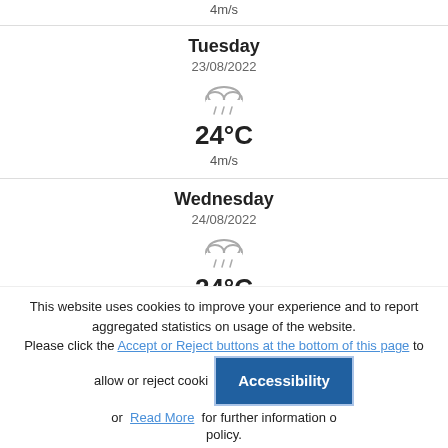4m/s
Tuesday
23/08/2022
[Figure (illustration): Rain cloud weather icon]
24°C
4m/s
Wednesday
24/08/2022
[Figure (illustration): Rain cloud weather icon]
24°C
6m/s
Thursday
25/08/2022
This website uses cookies to improve your experience and to report aggregated statistics on usage of the website. Please click the Accept or Reject buttons at the bottom of this page to allow or reject cookies or Read More for further information on our cookie policy.